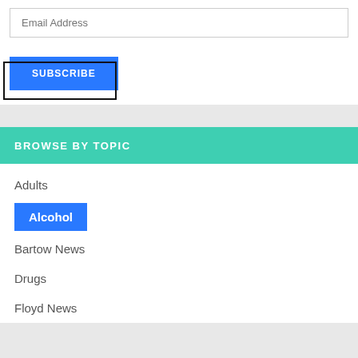Email Address
SUBSCRIBE
BROWSE BY TOPIC
Adults
Alcohol
Bartow News
Drugs
Floyd News